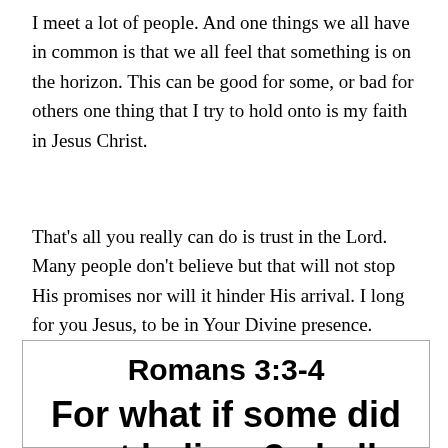I meet a lot of people. And one things we all have in common is that we all feel that something is on the horizon. This can be good for some, or bad for others one thing that I try to hold onto is my faith in Jesus Christ.
That's all you really can do is trust in the Lord. Many people don't believe but that will not stop His promises nor will it hinder His arrival. I long for you Jesus, to be in Your Divine presence.
Romans 3:3-4
For what if some did not believe? shall their